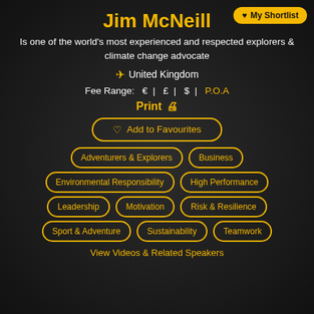Jim McNeill
Is one of the world's most experienced and respected explorers & climate change advocate
✈ United Kingdom
Fee Range: € | £ | $ | P.O.A
Print 🖨
♡ Add to Favourites
Adventurers & Explorers
Business
Environmental Responsibility
High Performance
Leadership
Motivation
Risk & Resilience
Sport & Adventure
Sustainability
Teamwork
View Videos & Related Speakers